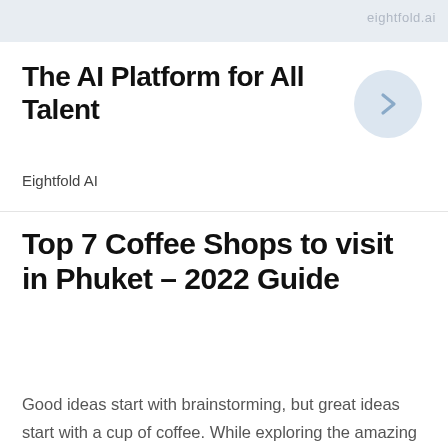eightfold.ai
The AI Platform for All Talent
Eightfold AI
Top 7 Coffee Shops to visit in Phuket – 2022 Guide
Good ideas start with brainstorming, but great ideas start with a cup of coffee. While exploring the amazing city of Phuket, you must not forget to check out some really fascinating cafes that this